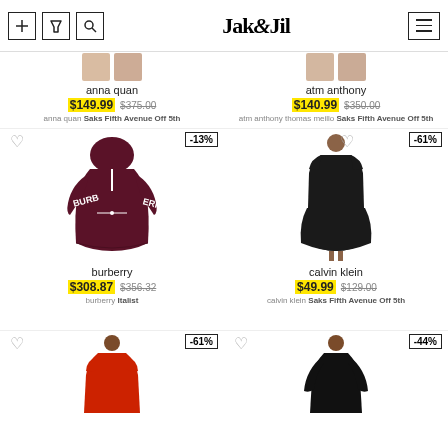Jak&Jil - fashion search
[Figure (photo): Partial top of anna quan product image (cut off)]
anna quan
$149.99 $375.00
anna quan Saks Fifth Avenue Off 5th
[Figure (photo): Partial top of atm anthony product image (cut off)]
atm anthony
$140.99 $350.00
atm anthony thomas meillo Saks Fifth Avenue Off 5th
[Figure (photo): Burberry dark red hooded sweatshirt dress with logo on sleeves]
burberry
$308.87 $356.32
burberry Italist
[Figure (photo): Calvin Klein black short sleeve A-line midi dress on model]
calvin klein
$49.99 $129.00
calvin klein Saks Fifth Avenue Off 5th
[Figure (photo): Partial red short sleeve dress at bottom of page]
[Figure (photo): Partial black long sleeve top at bottom of page]